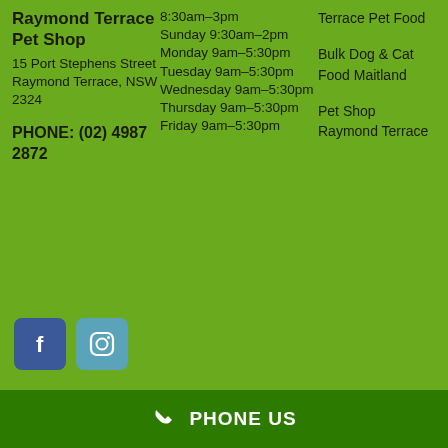Raymond Terrace Pet Shop
15 Port Stephens Street Raymond Terrace, NSW 2324
PHONE: (02) 4987 2872
8:30am–3pm
Sunday 9:30am–2pm
Monday 9am–5:30pm
Tuesday 9am–5:30pm
Wednesday 9am–5:30pm
Thursday 9am–5:30pm
Friday 9am–5:30pm
Terrace Pet Food
Bulk Dog & Cat Food Maitland
Pet Shop Raymond Terrace
[Figure (logo): Facebook icon button (blue rounded square with white 'f')]
[Figure (logo): Instagram icon button (light blue rounded square with camera outline)]
PHONE US